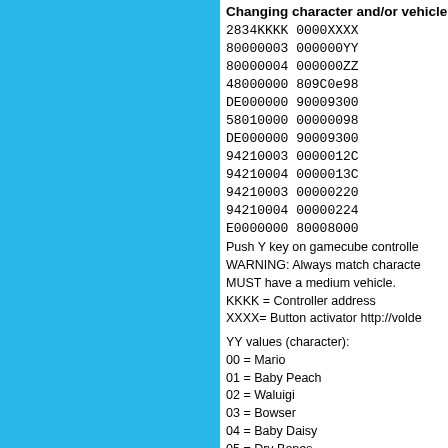Changing character and/or vehicle
2834KKKK 0000XXXX
80000003 000000YY
80000004 000000ZZ
48000000 809C0e98
DE000000 90009300
58010000 00000098
DE000000 90009300
94210003 0000012C
94210004 0000013C
94210003 00000220
94210004 00000224
E0000000 80008000
Push Y key on gamecube controller
WARNING: Always match character
MUST have a medium vehicle.
KKKK = Controller address
XXXX= Button activator http://volde
YY values (character):
00 = Mario
01 = Baby Peach
02 = Waluigi
03 = Bowser
04 = Baby Daisy
05 = Dry Bones
06 = Baby Mario
07 = Luigi
08 = Toad
09 = Donkey Kong